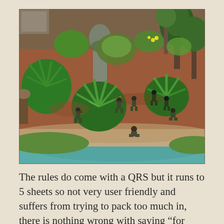[Figure (photo): A tabletop miniature wargame scene showing painted miniature soldiers among elaborate terrain featuring trees, tropical plants, a stone Buddha statue, reddish-brown earth, green grass, and a teal-colored body of water/river in the foreground.]
The rules do come with a QRS but it runs to 5 sheets so not very user friendly and suffers from trying to pack too much in, there is nothing wrong with saying "for napalm